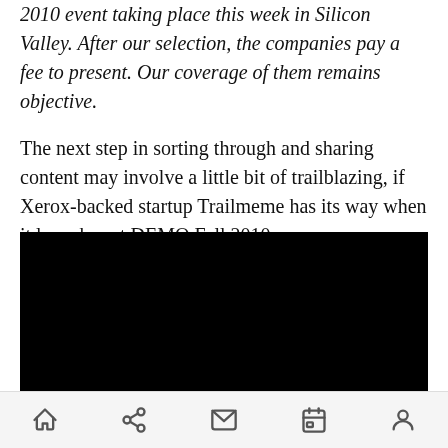2010 event taking place this week in Silicon Valley. After our selection, the companies pay a fee to present. Our coverage of them remains objective.
The next step in sorting through and sharing content may involve a little bit of trailblazing, if Xerox-backed startup Trailmeme has its way when it launches at DEMO Fall 2010.
[Figure (photo): Black rectangle representing an embedded video player]
Navigation bar with home, share, mail, calendar, and person icons